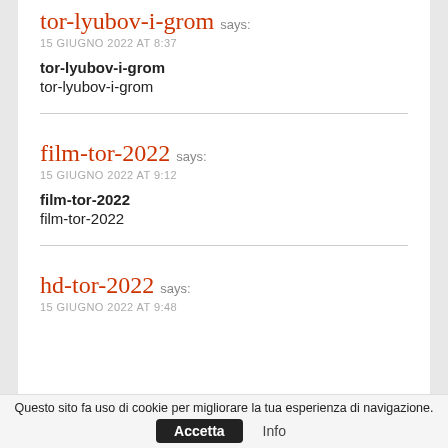tor-lyubov-i-grom says:
15 GIUGNO 2022 AT 8:37
tor-lyubov-i-grom
tor-lyubov-i-grom
film-tor-2022 says:
15 GIUGNO 2022 AT 9:12
film-tor-2022
film-tor-2022
hd-tor-2022 says:
15 GIUGNO 2022 AT 9:48
Questo sito fa uso di cookie per migliorare la tua esperienza di navigazione.
Accetta  Info